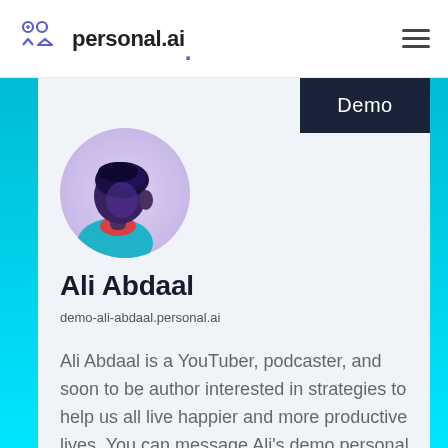personal.ai
[Figure (illustration): Circular avatar illustration of a person with dark hair facing left, wearing a red collar, with a purple/teal color scheme]
Ali Abdaal
demo-ali-abdaal.personal.ai
Ali Abdaal is a YouTuber, podcaster, and soon to be author interested in strategies to help us all live happier and more productive lives. You can message Ali's demo personal AI on topics like